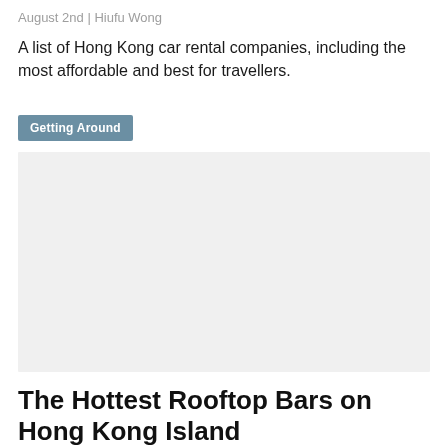August 2nd | Hiufu Wong
A list of Hong Kong car rental companies, including the most affordable and best for travellers.
Getting Around
[Figure (photo): Placeholder image area with light grey background, likely a photo related to Hong Kong car rental or rooftop bars.]
The Hottest Rooftop Bars on Hong Kong Island